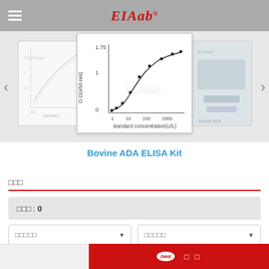ELIAab (logo)
[Figure (continuous-plot): ELISA standard curve chart showing O.D.(450nm) vs standard concentration (U/L) on log scale. Y-axis: 0 to ~1.75, X-axis: 1 to 1000 U/L. S-shaped curve with data points.]
Bovine ADA ELISA Kit
□□□
□□□ : 0
□□□□□
□□□□□
글 Q&A
new  □ □